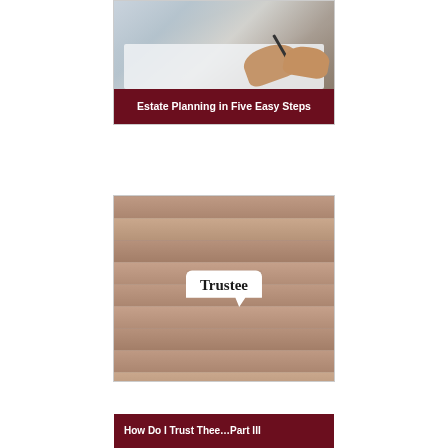[Figure (photo): Hands signing a document with a pen on a desk, close-up shot with light blue-grey tones]
Estate Planning in Five Easy Steps
[Figure (photo): Wooden plank surface with a white speech-bubble label reading 'Trustee' in bold serif font]
How Do I Trust Thee…Part III